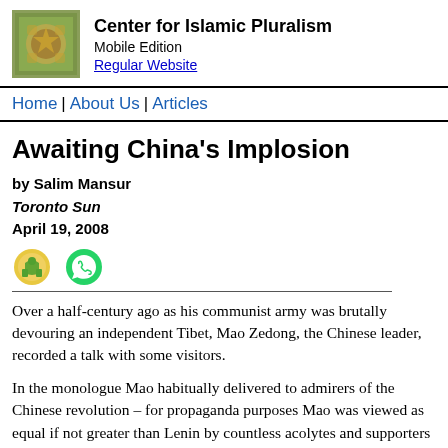Center for Islamic Pluralism
Mobile Edition
Regular Website
Home | About Us | Articles
Awaiting China's Implosion
by Salim Mansur
Toronto Sun
April 19, 2008
[Figure (other): Email and WhatsApp share icons]
Over a half-century ago as his communist army was brutally devouring an independent Tibet, Mao Zedong, the Chinese leader, recorded a talk with some visitors.
In the monologue Mao habitually delivered to admirers of the Chinese revolution – for propaganda purposes Mao was viewed as equal if not greater than Lenin by countless acolytes and supporters worldwide – he spoke about the United States dismissively. He called it an "imperial" power condemned by history to fade away because of opposing the winds of change